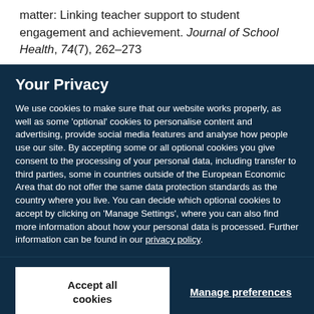matter: Linking teacher support to student engagement and achievement. Journal of School Health, 74(7), 262–273
Your Privacy
We use cookies to make sure that our website works properly, as well as some 'optional' cookies to personalise content and advertising, provide social media features and analyse how people use our site. By accepting some or all optional cookies you give consent to the processing of your personal data, including transfer to third parties, some in countries outside of the European Economic Area that do not offer the same data protection standards as the country where you live. You can decide which optional cookies to accept by clicking on 'Manage Settings', where you can also find more information about how your personal data is processed. Further information can be found in our privacy policy.
Accept all cookies
Manage preferences